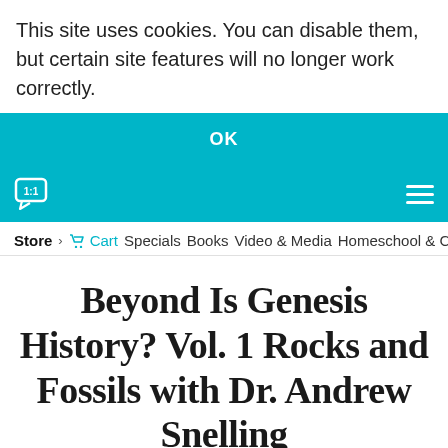This site uses cookies. You can disable them, but certain site features will no longer work correctly.
OK
[Figure (screenshot): Teal navigation bar with a 1:1 chat logo icon on the left and a hamburger menu icon on the right]
Store > Cart  Specials  Books  Video & Media  Homeschool & C
Beyond Is Genesis History? Vol. 1 Rocks and Fossils with Dr. Andrew Snelling